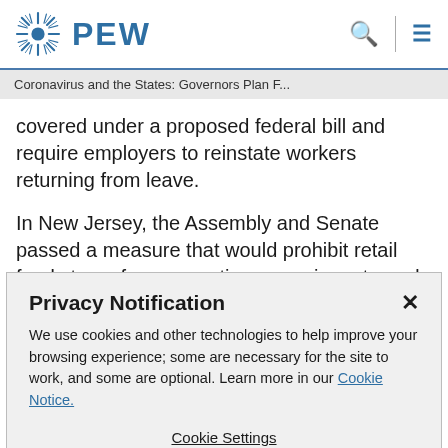PEW
Coronavirus and the States: Governors Plan F...
covered under a proposed federal bill and require employers to reinstate workers returning from leave.

In New Jersey, the Assembly and Senate passed a measure that would prohibit retail food stores from accepting groceries returned by consumers during and for 30 days after a state of emergency declared in response to the
Privacy Notification
We use cookies and other technologies to help improve your browsing experience; some are necessary for the site to work, and some are optional. Learn more in our Cookie Notice.
Cookie Settings